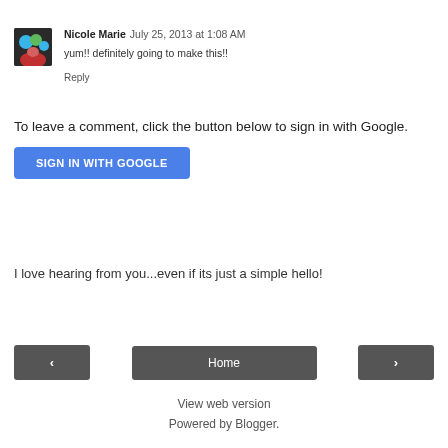Nicole Marie  July 25, 2013 at 1:08 AM
yum!! definitely going to make this!!
Reply
To leave a comment, click the button below to sign in with Google.
[Figure (screenshot): Blue 'SIGN IN WITH GOOGLE' button]
I love hearing from you...even if its just a simple hello!
[Figure (screenshot): Navigation buttons: left arrow, Home, right arrow]
View web version
Powered by Blogger.